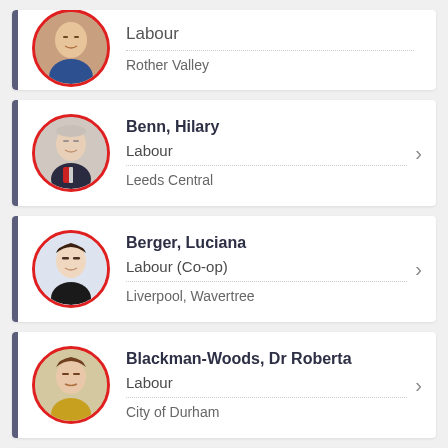Labour / Rother Valley
Benn, Hilary — Labour — Leeds Central
Berger, Luciana — Labour (Co-op) — Liverpool, Wavertree
Blackman-Woods, Dr Roberta — Labour — City of Durham